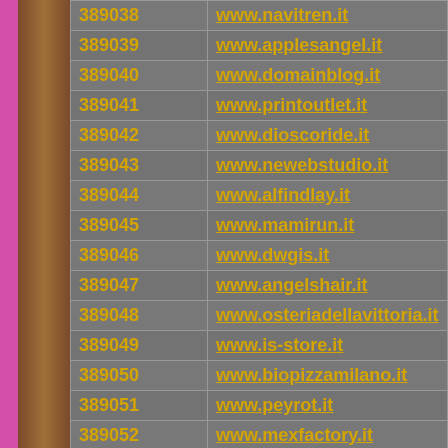| ID | URL |
| --- | --- |
| 389038 | www.navitren.it |
| 389039 | www.applesangel.it |
| 389040 | www.domainblog.it |
| 389041 | www.printoutlet.it |
| 389042 | www.dioscoride.it |
| 389043 | www.newebstudio.it |
| 389044 | www.alfindlay.it |
| 389045 | www.mamirun.it |
| 389046 | www.dwgis.it |
| 389047 | www.angelshair.it |
| 389048 | www.osteriadellavittoria.it |
| 389049 | www.is-store.it |
| 389050 | www.biopizzamilano.it |
| 389051 | www.peyrot.it |
| 389052 | www.mexfactory.it |
| 389053 | ... |